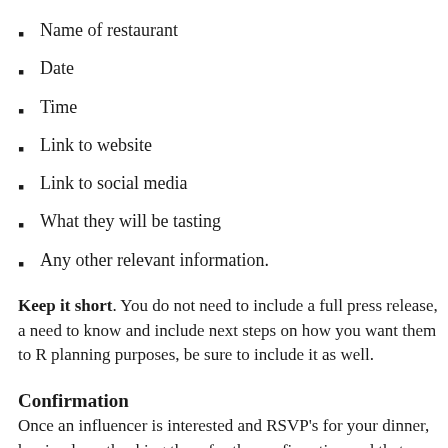Name of restaurant
Date
Time
Link to website
Link to social media
What they will be tasting
Any other relevant information.
Keep it short. You do not need to include a full press release, a need to know and include next steps on how you want them to R planning purposes, be sure to include it as well.
Confirmation
Once an influencer is interested and RSVP's for your dinner, ha simple as thanking them for the confirmation and that you are lo there is any pertinent information they may need, be sure to incl
It's a common practice for restaurants and agencies to ask influe